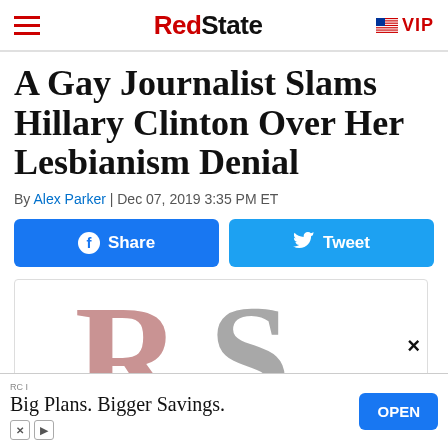RedState | VIP
A Gay Journalist Slams Hillary Clinton Over Her Lesbianism Denial
By Alex Parker | Dec 07, 2019 3:35 PM ET
[Figure (screenshot): Facebook Share and Twitter Tweet social sharing buttons]
[Figure (logo): RedState RS logo placeholder image with large pink R and gray S letters]
RCI
Big Plans. Bigger Savings.
OPEN